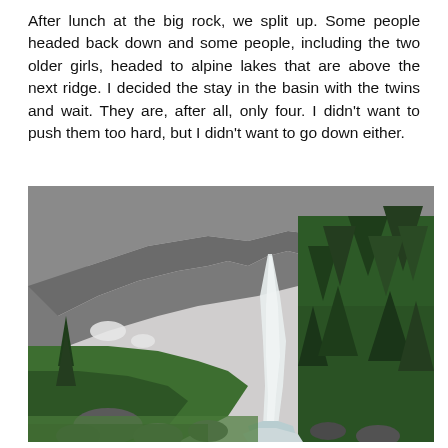After lunch at the big rock, we split up. Some people headed back down and some people, including the two older girls, headed to alpine lakes that are above the next ridge. I decided the stay in the basin with the twins and wait. They are, after all, only four. I didn't want to push them too hard, but I didn't want to go down either.
[Figure (photo): A mountain landscape photograph showing a rocky alpine scene with a waterfall cascading down a rocky cliff face surrounded by dense evergreen trees (firs/spruces), green meadow vegetation and shrubs in the foreground, large boulders, a small stream at the bottom, patches of snow on the upper rocky slopes, and an overcast sky.]